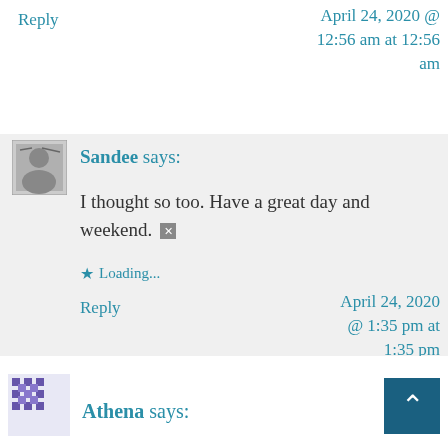Reply
April 24, 2020 @ 12:56 am at 12:56 am
[Figure (photo): Avatar photo for Sandee commenter]
Sandee says:
I thought so too. Have a great day and weekend. [x emoji]
Loading...
Reply
April 24, 2020 @ 1:35 pm at 1:35 pm
[Figure (photo): Avatar photo for Athena commenter]
Athena says: